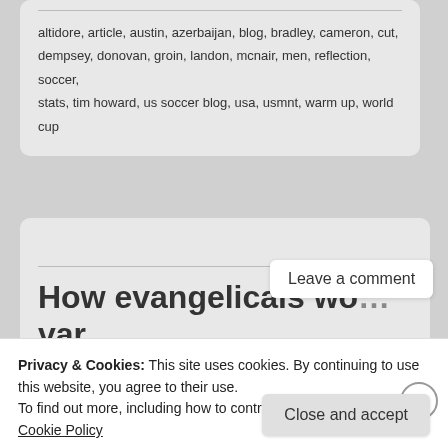altidore, article, austin, azerbaijan, blog, bradley, cameron, cut, dempsey, donovan, groin, landon, mcnair, men, reflection, soccer, stats, tim howard, us soccer blog, usa, usmnt, warm up, world cup
How evangelicals wo... var lost a generation
Leave a comment
April 1, 2014 by Austin McNair
Privacy & Cookies: This site uses cookies. By continuing to use this website, you agree to their use. To find out more, including how to control cookies, see here: Cookie Policy
Close and accept